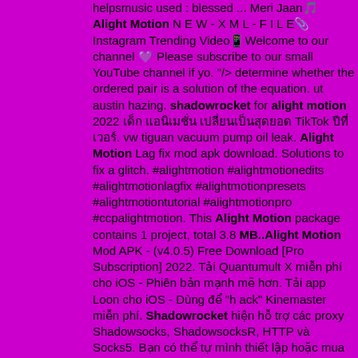helpsmusic used : blessed ... Meri Jaan Alight Motion N E W - X M L - F I L E Instagram Trending Video Welcome to our channel  Please subscribe to our small YouTube channel if yo. "/> determine whether the ordered pair is a solution of the equation. ut austin hazing. shadowrocket for alight motion 2022 TikTok . vw tiguan vacuum pump oil leak. Alight Motion Lag fix mod apk download. Solutions to fix a glitch. #alightmotion #alightmotionedits #alightmotionlagfix #alightmotionpresets #alightmotiontutorial #alightmotionpro #ccpalightmotion. This Alight Motion package contains 1 project, total 3.8 MB..Alight Motion Mod APK - (v4.0.5) Free Download [Pro Subscription] 2022. Tải Quantumult X miễn phí cho iOS - Phiên bản mạnh mẽ hơn. Tải app Loon cho iOS - Dùng để "h ack" Kinemaster miễn phí. Shadowrocket hiện hỗ trợ các proxy Shadowsocks, ShadowsocksR, HTTP và Socks5. Bạn có thể tự mình thiết lập hoặc mua từ bất kỳ nhà cung cấp proxy nào. Alight Motion.Founder of (TheAlightMotion.com) 4d. https://lnkd.in/dic7ESWM Shadowrocket Alight Motion Shadowrocket Alight Motion 2022 pro features are free for. Alight Motion, is the first PRO motion graphics app for your smartphone, bringing you professional-quality animation, motion graphics, visual effects, video editing, and video compositing. Jun 14, 2022 · Download the file Alight